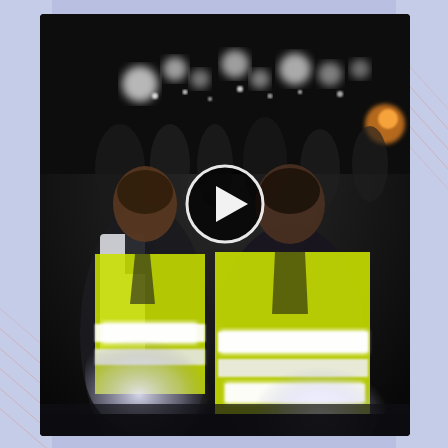[Figure (photo): Nighttime video thumbnail showing two men wearing bright yellow-green high-visibility safety vests with reflective strips. The vests are illuminated brightly against a dark background. Behind them are blurred figures and lights in the darkness. A circular play button icon is overlaid in the center of the image. The overall scene appears to be outdoors at night.]